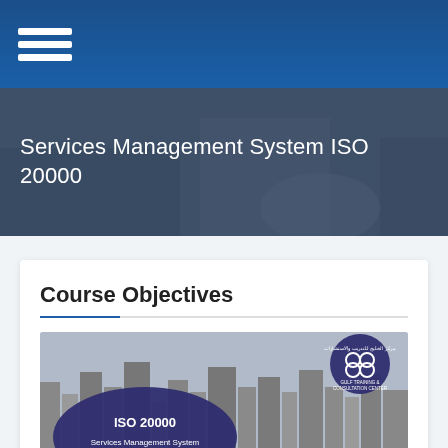Navigation menu (hamburger icon)
Services Management System ISO 20000
Course Objectives
[Figure (illustration): ISO 20000 Services Management System course banner image showing a city skyline in black and white with a dark purple/navy overlay circle on the left containing the text 'ISO 20000 / Services Management System / نظام إدارة الخدمات' and a Gulf Training & Consultation Center logo badge on the upper right.]